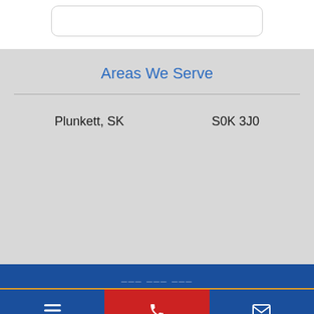Areas We Serve
Plunkett, SK    S0K 3J0
Menu  |  Call us  |  Email us